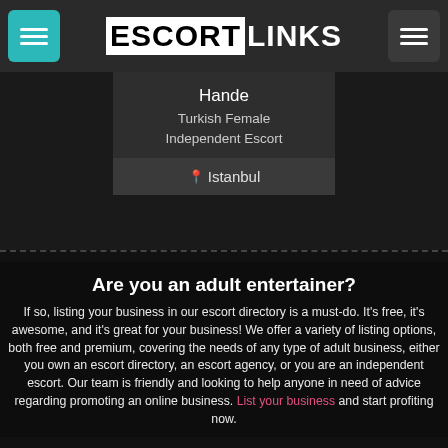ESCORTLINKS
Hande
Turkish Female Independent Escort
📍 Istanbul
Are you an adult entertainer?
If so, listing your business in our escort directory is a must-do. It's free, it's awesome, and it's great for your business! We offer a variety of listing options, both free and premium, covering the needs of any type of adult business, either you own an escort directory, an escort agency, or you are an independent escort. Our team is friendly and looking to help anyone in need of advice regarding promoting an online business. List your business and start profiting now.